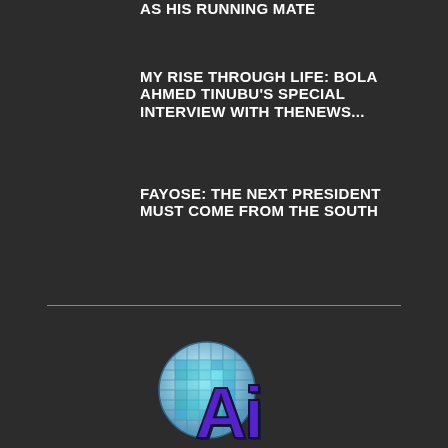AS HIS RUNNING MATE
MY RISE THROUGH LIFE: BOLA AHMED TINUBU'S SPECIAL INTERVIEW WITH THENEWS...
FAYOSE: THE NEXT PRESIDENT MUST COME FROM THE SOUTH
[Figure (logo): Globalized AI logo: a globe with grid lines in teal/blue tones, overlaid with large bold letters 'Ai' in dark navy/purple]